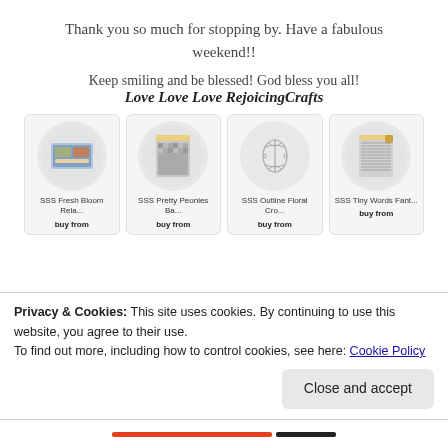Thank you so much for stopping by. Have a fabulous weekend!!
Keep smiling and be blessed! God bless you all!
Love Love Love RejoicingCrafts
[Figure (other): Four product cards showing craft stamp products: SSS Fresh Bloom Rela..., SSS Pretty Peonies Ba..., SSS Outline Floral Cro..., SSS Tiny Words Fant... Each with a 'buy from' label below.]
Privacy & Cookies: This site uses cookies. By continuing to use this website, you agree to their use.
To find out more, including how to control cookies, see here: Cookie Policy
Close and accept